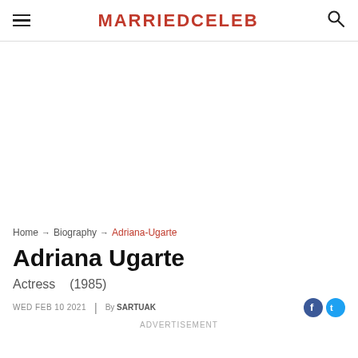MARRIEDCELEB
[Figure (other): Advertisement/blank white area placeholder]
Home → Biography → Adriana-Ugarte
Adriana Ugarte
Actress   (1985)
WED FEB 10 2021  |  By SARTUAK
ADVERTISEMENT